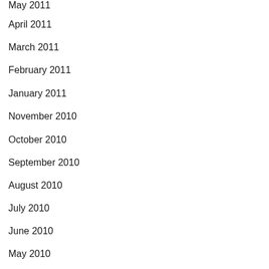May 2011
April 2011
March 2011
February 2011
January 2011
November 2010
October 2010
September 2010
August 2010
July 2010
June 2010
May 2010